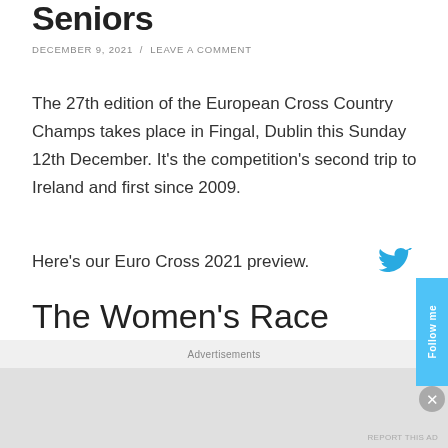Seniors
DECEMBER 9, 2021 / LEAVE A COMMENT
The 27th edition of the European Cross Country Champs takes place in Fingal, Dublin this Sunday 12th December. It's the competition's second trip to Ireland and first since 2009.
Here's our Euro Cross 2021 preview.
The Women's Race
Yasemin Can heads to Fingal hoping to make it an
Advertisements
REPORT THIS AD